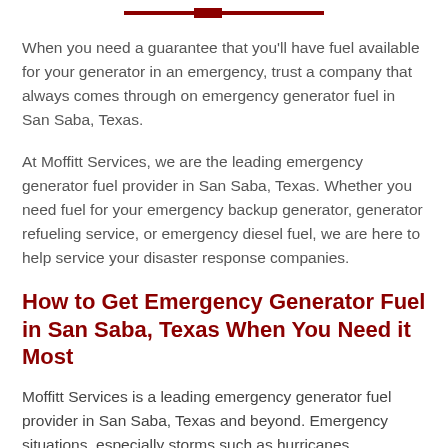When you need a guarantee that you'll have fuel available for your generator in an emergency, trust a company that always comes through on emergency generator fuel in San Saba, Texas.
At Moffitt Services, we are the leading emergency generator fuel provider in San Saba, Texas. Whether you need fuel for your emergency backup generator, generator refueling service, or emergency diesel fuel, we are here to help service your disaster response companies.
How to Get Emergency Generator Fuel in San Saba, Texas When You Need it Most
Moffitt Services is a leading emergency generator fuel provider in San Saba, Texas and beyond. Emergency situations, especially storms such as hurricanes